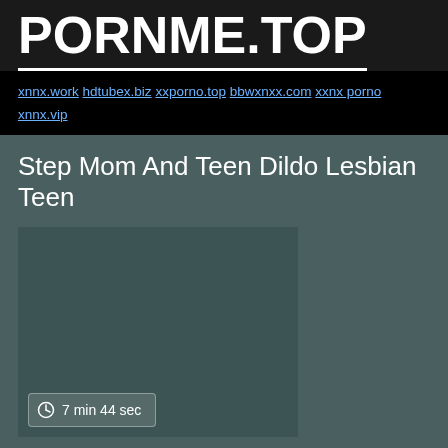PORNME.TOP
xnnx.work hdtubex.biz xxporno.top bbwxnxx.com xxnx porno xnnx.vip
Step Mom And Teen Dildo Lesbian Teen
[Figure (screenshot): Dark teal video thumbnail area]
7 min 44 sec